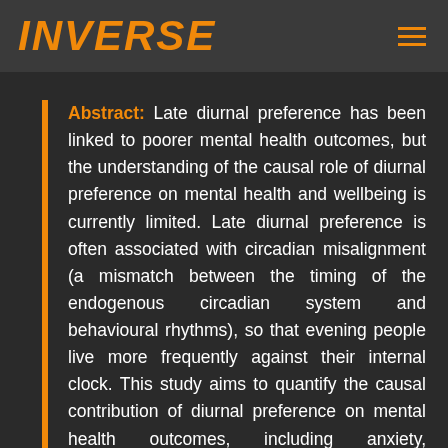INVERSE
Abstract: Late diurnal preference has been linked to poorer mental health outcomes, but the understanding of the causal role of diurnal preference on mental health and wellbeing is currently limited. Late diurnal preference is often associated with circadian misalignment (a mismatch between the timing of the endogenous circadian system and behavioural rhythms), so that evening people live more frequently against their internal clock. This study aims to quantify the causal contribution of diurnal preference on mental health outcomes, including anxiety, depression and general wellbeing and test the hypothesis that more misaligned individuals have poorer mental health and